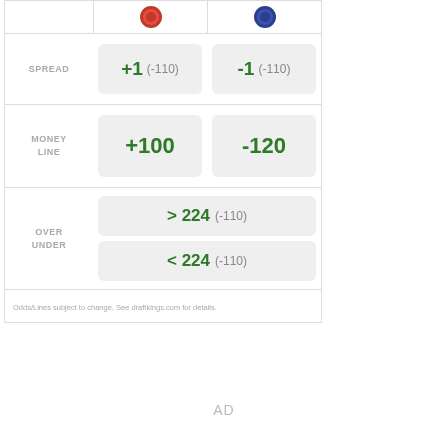|  | Team 1 | Team 2 |
| --- | --- | --- |
| SPREAD | +1 (-110) | -1 (-110) |
| MONEY LINE | +100 | -120 |
| OVER UNDER | > 224 (-110) | < 224 (-110) |
Odds/Lines subject to change. See draftkings.com for details.
AD